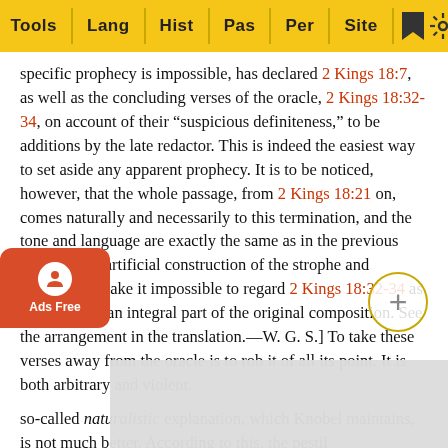Tools | Lang | Hist | Pas | Per | Site
specific prophecy is impossible, has declared 2 Kings 18:7, as well as the concluding verses of the oracle, 2 Kings 18:32-34, on account of their “suspicious definiteness,” to be additions by the late redactor. This is indeed the easiest way to set aside any apparent prophecy. It is to be noticed, however, that the whole passage, from 2 Kings 18:21 on, comes naturally and necessarily to this termination, and the tone and language are exactly the same as in the previous verses. [The artificial construction of the strophe and antistrophe make it impossible to regard 2 Kings 18:32-34 as anything but an integral part of the original composition. See the arrangement in the translation.—W. G. S.] To take these verses away from the oracle is to rob it of all its point. It is both arbitrary and violent.
so-called naturalistic explanation, which Knobel maintains, is not much better. According to this, the pestil[ence]... ned to we[aken]... also